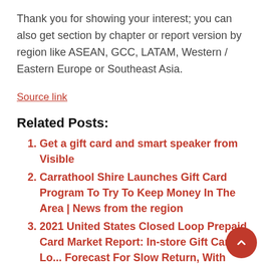Thank you for showing your interest; you can also get section by chapter or report version by region like ASEAN, GCC, LATAM, Western / Eastern Europe or Southeast Asia.
Source link
Related Posts:
Get a gift card and smart speaker from Visible
Carrathool Shire Launches Gift Card Program To Try To Keep Money In The Area | News from the region
2021 United States Closed Loop Prepaid Card Market Report: In-store Gift Card Lo... Forecast For Slow Return, With Continued Gains in Market Share for Digital and Virtual